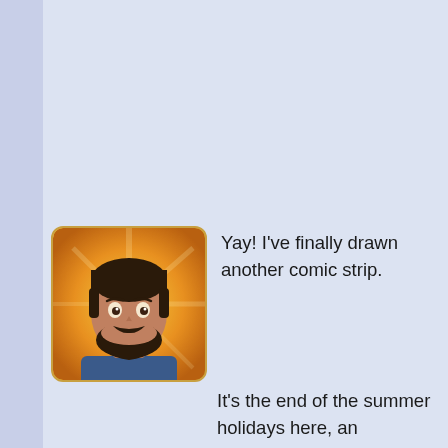[Figure (illustration): Avatar thumbnail of a bearded man with dark hair, painted style with yellow/orange background sunburst effect, rounded corners with golden border]
Yay! I've finally drawn another comic strip.
It's the end of the summer holidays here, an